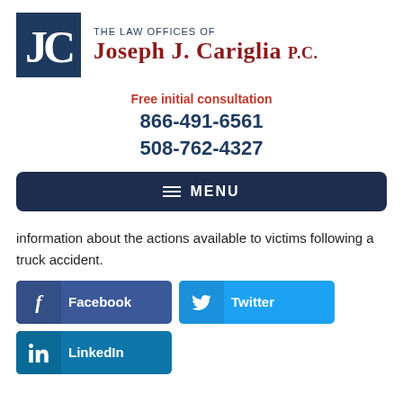[Figure (logo): The Law Offices of Joseph J. Cariglia P.C. logo with dark blue JC monogram box and red/navy firm name text]
Free initial consultation
866-491-6561
508-762-4327
[Figure (other): Dark navy menu bar with hamburger icon and MENU text]
information about the actions available to victims following a truck accident.
[Figure (other): Social media share buttons: Facebook (blue), Twitter (light blue), LinkedIn (teal blue)]